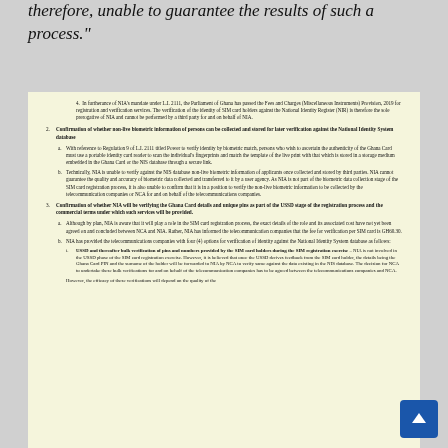therefore, unable to guarantee the results of such a process."
[Figure (screenshot): Scanned document page on cream/yellow background containing numbered list items about NIA mandate, SIM card registration, biometric verification, and Ghana Card details with USSD verification options.]